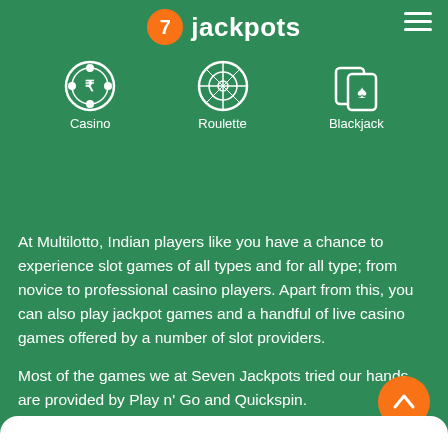7 jackpots
[Figure (logo): 7 Jackpots logo with orange circle containing number 7 and text 'jackpots' in white, with hamburger menu icon on right]
[Figure (infographic): Three navigation icons: Casino (chip with rupee symbol), Roulette (roulette wheel), Blackjack (playing cards)]
At Multilotto, Indian players like you have a chance to experience slot games of all types and for all type; from novice to professional casino players. Apart from this, you can also play jackpot games and a handful of live casino games offered by a number of slot providers.
Most of the games we at Seven Jackpots tried our hands are provided by Play n' Go and Quickspin.